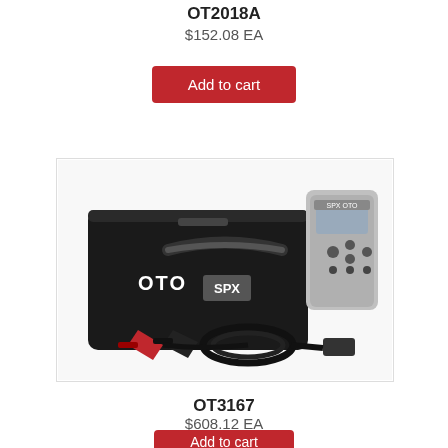OT2018A
$152.08 EA
Add to cart
[Figure (photo): OTO SPX branded black hard case tool kit with a handheld digital diagnostic device (OT3167) and battery clamps/cables on white background]
OT3167
$608.12 EA
Add to cart